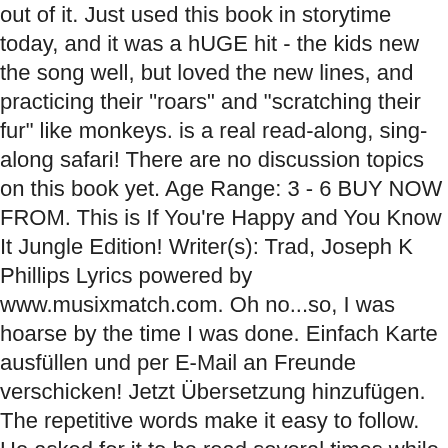out of it. Just used this book in storytime today, and it was a hUGE hit - the kids new the song well, but loved the new lines, and practicing their "roars" and "scratching their fur" like monkeys. is a real read-along, sing-along safari! There are no discussion topics on this book yet. Age Range: 3 - 6 BUY NOW FROM. This is If You're Happy and You Know It Jungle Edition! Writer(s): Trad, Joseph K Phillips Lyrics powered by www.musixmatch.com. Oh no...so, I was hoarse by the time I was done. Einfach Karte ausfüllen und per E-Mail an Freunde verschicken! Jetzt Übersetzung hinzufügen. The repetitive words make it easy to follow. He asked for it to be read several times while we had it. At the very end they put it all together like the song and my daughter had a blast acting it all out with me. Colin Buchanan singing the Aussie version of If You're Happy And You Know It by P.Crumble At the sound of, "If you're happy and you know it, stomp your feet," an elephant slide suddenly transforms into a real pachyderm who stands on its hind legs and clomps. I loved it and so did my kids. ), UNCLE ANDY'S: A Faabbbulous Visit with Andy Warhol. Das laißt drücken Sie auf den und klicke auf die Lied-in